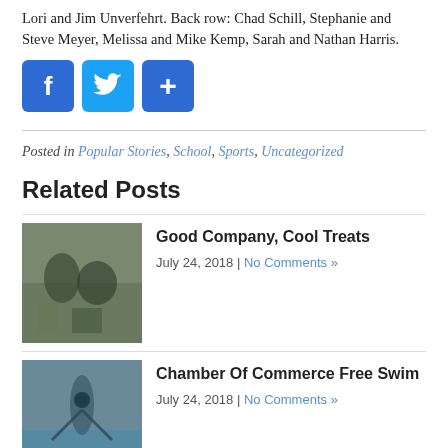Lori and Jim Unverfehrt. Back row: Chad Schill, Stephanie and Steve Meyer, Melissa and Mike Kemp, Sarah and Nathan Harris.
[Figure (infographic): Three social sharing buttons: Facebook (blue, 'f'), Twitter (blue, bird icon), and a plus/share button (blue, '+')]
Posted in Popular Stories, School, Sports, Uncategorized
Related Posts
[Figure (photo): Photo of people at an outdoor gathering, serving food or treats]
Good Company, Cool Treats
July 24, 2018 | No Comments »
[Figure (photo): Photo of a swimmer or person near a pool]
Chamber Of Commerce Free Swim
July 24, 2018 | No Comments »